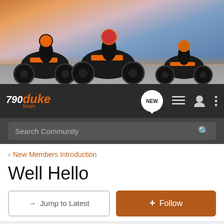[Figure (photo): Hero banner showing three KTM motorcycles with riders on a road against a dramatic sunset sky with orange and blue tones]
[Figure (logo): 790 Duke Forum logo in white and orange italic text on dark background, with NEW speech bubble icon, list icon, user icon, and menu icon in the navigation bar]
Search Community
< New Members Introduction
Well Hello
→ Jump to Latest
+ Follow
1 - 16 of 16 Posts
Gwyn · Registered 🇬🇧
Joined Mar 22, 2020 · 10 Posts